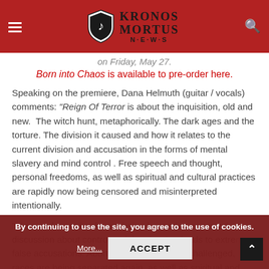Kronos Mortus News
on Friday, May 27.
Born into Chaos is available to pre-order here.
Speaking on the premiere, Dana Helmuth (guitar / vocals) comments: "Reign Of Terror is about the inquisition, old and new.  The witch hunt, metaphorically. The dark ages and the torture. The division it caused and how it relates to the current division and accusation in the forms of mental slavery and mind control . Free speech and thought, personal freedoms, as well as spiritual and cultural practices are rapidly now being censored and misinterpreted intentionally.
“More and more books are being banned or censored, discussion about controversial topics that leads to extreme false accusations. Abortion rights are being challenged, races are being separated again, as well as spiritual and
By continuing to use the site, you agree to the use of cookies.